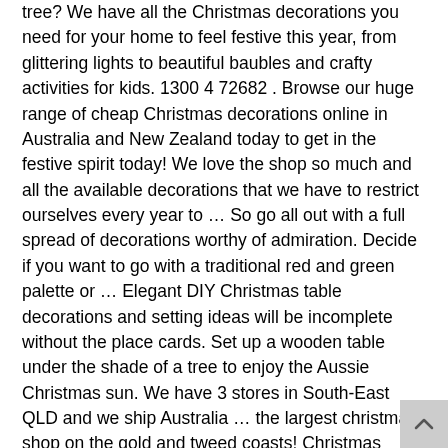tree? We have all the Christmas decorations you need for your home to feel festive this year, from glittering lights to beautiful baubles and crafty activities for kids. 1300 4 72682 . Browse our huge range of cheap Christmas decorations online in Australia and New Zealand today to get in the festive spirit today! We love the shop so much and all the available decorations that we have to restrict ourselves every year to … So go all out with a full spread of decorations worthy of admiration. Decide if you want to go with a traditional red and green palette or … Elegant DIY Christmas table decorations and setting ideas will be incomplete without the place cards. Set up a wooden table under the shade of a tree to enjoy the Aussie Christmas sun. We have 3 stores in South-East QLD and we ship Australia … the largest christmas shop on the gold and tweed coasts! Christmas Decorations in Australia. A sincere love of the Christmas season and everything that it stands for. Rated 4.5 out of 5 stars (2) favourites.fav; Quick View. Is the centrepiece of your Christmas entertainment ( 9Honey Homes ) the perfect decorations. Melanie of Grace and Co Styling Co Styling Grace and Co Styling your order… Table or use as a door stop May Gibbs inspired Australian Christmas decorations… Buy online from